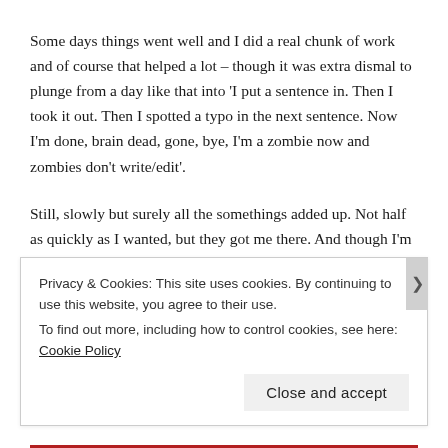Some days things went well and I did a real chunk of work and of course that helped a lot – though it was extra dismal to plunge from a day like that into 'I put a sentence in. Then I took it out. Then I spotted a typo in the next sentence. Now I'm done, brain dead, gone, bye, I'm a zombie now and zombies don't write/edit'.
Still, slowly but surely all the somethings added up. Not half as quickly as I wanted, but they got me there. And though I'm a sprinter, not a marathon runner/writer/what-have-you, I'm also a professional and I know that when something's not working I need to put a new tool in my toolbox to help me fix the problem and keep me ticking on towards my goals – I can't just sit there and wait for it all to get easier (word to the wise: ain't happening).
Privacy & Cookies: This site uses cookies. By continuing to use this website, you agree to their use. To find out more, including how to control cookies, see here: Cookie Policy
Close and accept